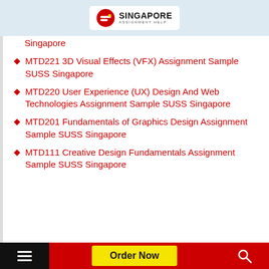[Figure (logo): Singapore Assignment Help logo with red circular icon and text]
Singapore
MTD221 3D Visual Effects (VFX) Assignment Sample SUSS Singapore
MTD220 User Experience (UX) Design And Web Technologies Assignment Sample SUSS Singapore
MTD201 Fundamentals of Graphics Design Assignment Sample SUSS Singapore
MTD111 Creative Design Fundamentals Assignment Sample SUSS Singapore
Order Now